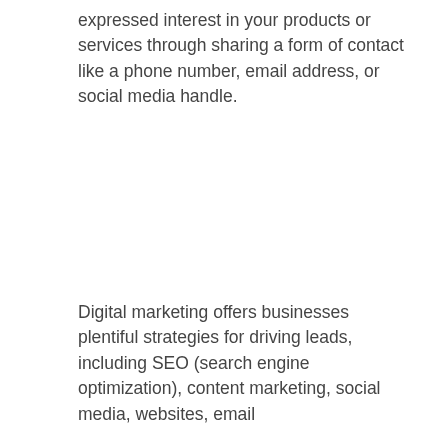expressed interest in your products or services through sharing a form of contact like a phone number, email address, or social media handle.
Digital marketing offers businesses plentiful strategies for driving leads, including SEO (search engine optimization), content marketing, social media, websites, email